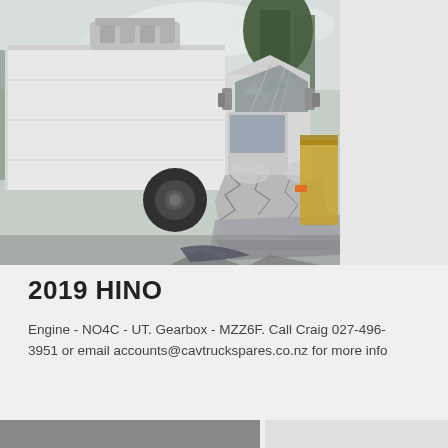[Figure (photo): A damaged 2019 Hino truck photographed at what appears to be a wrecking yard. The white truck has severe front-end damage with crumpled hood and smashed windshield. The truck has a large white box body. Trees and industrial surroundings visible in background. A yellow dumpster is partially visible on the right side.]
2019 HINO
Engine - NO4C - UT. Gearbox - MZZ6F. Call Craig 027-496-3951 or email accounts@cavtruckspares.co.nz for more info